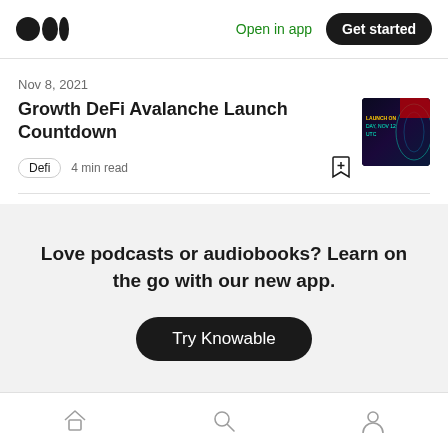Open in app | Get started
Nov 8, 2021
Growth DeFi Avalanche Launch Countdown
Defi  4 min read
[Figure (photo): Dark promotional thumbnail image with text 'LAUNCH ON DAY, NOV 12 UTC' and glowing neon graphics]
Love podcasts or audiobooks? Learn on the go with our new app.
Try Knowable
Home | Search | Profile